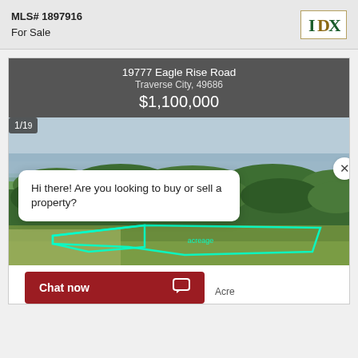MLS# 1897916
For Sale
19777 Eagle Rise Road
Traverse City, 49686
$1,100,000
[Figure (photo): Aerial drone photo of a wooded property parcel near a lake, with a cyan/green boundary outline marking the lot boundaries. Forested land visible with a body of water in the background.]
Hi there! Are you looking to buy or sell a property?
1/19
Chat now
Acre